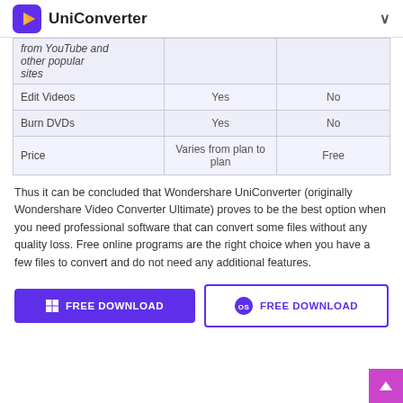UniConverter
|  |  |  |
| --- | --- | --- |
| from YouTube and other popular sites |  |  |
| Edit Videos | Yes | No |
| Burn DVDs | Yes | No |
| Price | Varies from plan to plan | Free |
Thus it can be concluded that Wondershare UniConverter (originally Wondershare Video Converter Ultimate) proves to be the best option when you need professional software that can convert some files without any quality loss. Free online programs are the right choice when you have a few files to convert and do not need any additional features.
[Figure (other): FREE DOWNLOAD button for Windows]
[Figure (other): FREE DOWNLOAD button for macOS]